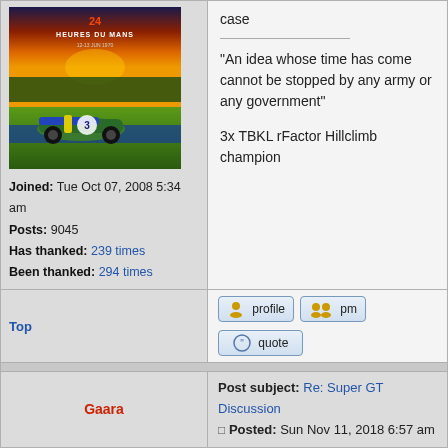[Figure (photo): 24 Heures du Mans race poster showing a racing car (number 3, blue/green) on a colorful background]
Joined: Tue Oct 07, 2008 5:34 am
Posts: 9045
Has thanked: 239 times
Been thanked: 294 times
"An idea whose time has come cannot be stopped by any army or any government"
3x TBKL rFactor Hillclimb champion
case
Top
profile  pm  quote
Post subject: Re: Super GT Discussion
Posted: Sun Nov 11, 2018 6:57 am
Gaara
offline
Site Admin
Administrator
He used them a lot trying to gain second place so
[Figure (photo): Bottom avatar image, partially visible]